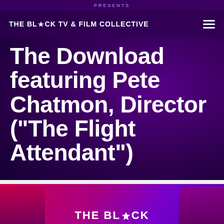THE BL★CK TV & FILM COLLECTIVE
The Download featuring Pete Chatmon, Director ("The Flight Attendant")
[Figure (logo): THE BL★CK logo at bottom of page in white text on purple-pink gradient background]